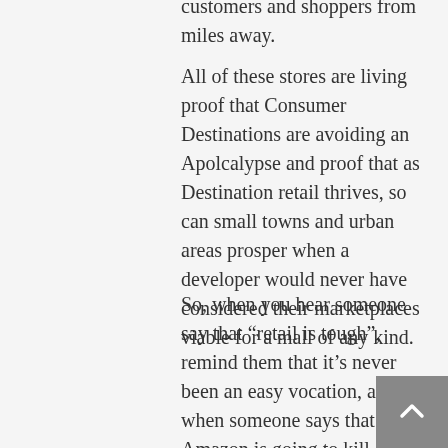customers and shoppers from miles away.
All of these stores are living proof that Consumer Destinations are avoiding an Apolcalypse and proof that as Destination retail thrives, so can small towns and urban areas prosper when a developer would never have considered their marketplaces viable for a mall of any kind.
So, when you hear someone say that “retail is tough”, remind them that it’s never been an easy vocation, and when someone says that Amazon is going to kill all retail stores, just smile and walk away because retail isn’t dying. It’s simply morphing. And those smaller communities, savvy developers, proactive downtowns, and retail entrepreneurs who recognize that ‘location, location, location’ is no longer the key to